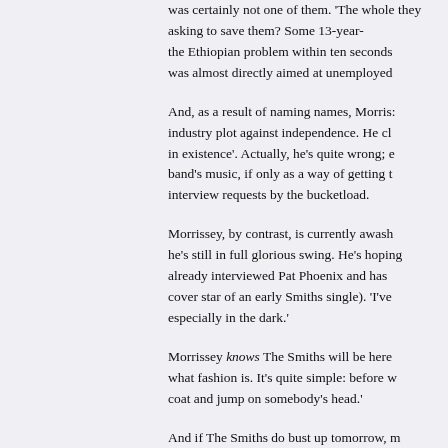was certainly not one of them. 'The whole they asking to save them? Some 13-year- the Ethiopian problem within ten seconds was almost directly aimed at unemployed
And, as a result of naming names, Morris: industry plot against independence. He cl in existence'. Actually, he's quite wrong; e band's music, if only as a way of getting t interview requests by the bucketload.
Morrissey, by contrast, is currently awash he's still in full glorious swing. He's hoping already interviewed Pat Phoenix and has cover star of an early Smiths single). 'I've especially in the dark.'
Morrissey knows The Smiths will be here what fashion is. It's quite simple: before w coat and jump on somebody's head.'
And if The Smiths do bust up tomorrow, m history books. 'I don't mind how I'm remer remembered for being a silly, prancing, no want some grain of immortality. I think it's